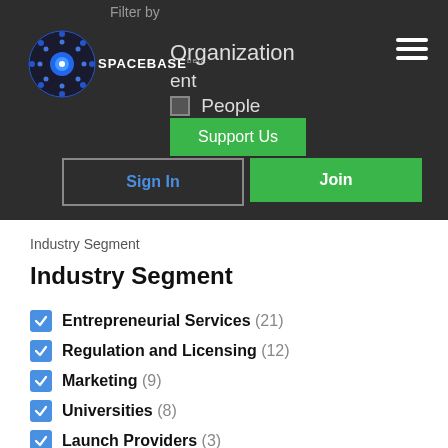[Figure (screenshot): Spacebase website navigation bar with dark background, showing logo, Filter By options (Organization, Content, People), Support Us button, Sign In and Join buttons]
Industry Segment
Industry Segment
Entrepreneurial Services (21)
Regulation and Licensing (12)
Marketing (9)
Universities (8)
Launch Providers (3)